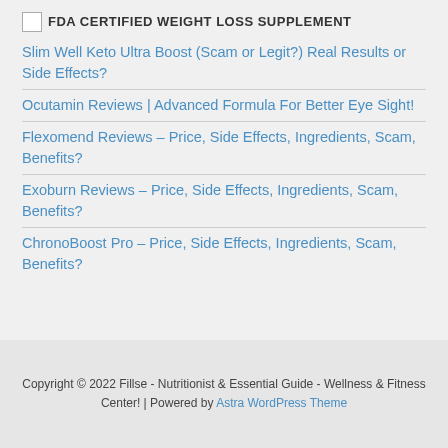[Figure (logo): FDA Certified Weight Loss Supplement logo image placeholder with text]
Slim Well Keto Ultra Boost (Scam or Legit?) Real Results or Side Effects?
Ocutamin Reviews | Advanced Formula For Better Eye Sight!
Flexomend Reviews – Price, Side Effects, Ingredients, Scam, Benefits?
Exoburn Reviews – Price, Side Effects, Ingredients, Scam, Benefits?
ChronoBoost Pro – Price, Side Effects, Ingredients, Scam, Benefits?
Copyright © 2022 Fillse - Nutritionist & Essential Guide - Wellness & Fitness Center! | Powered by Astra WordPress Theme